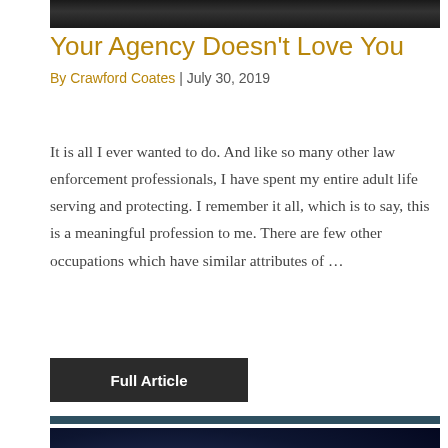[Figure (photo): Top portion of a photograph showing a person, partially cropped at the top of the page]
Your Agency Doesn’t Love You
By Crawford Coates | July 30, 2019
It is all I ever wanted to do. And like so many other law enforcement professionals, I have spent my entire adult life serving and protecting. I remember it all, which is to say, this is a meaningful profession to me. There are few other occupations which have similar attributes of …
Full Article
[Figure (photo): Dark photograph showing what appears to be people in a low-light setting with blue tones]